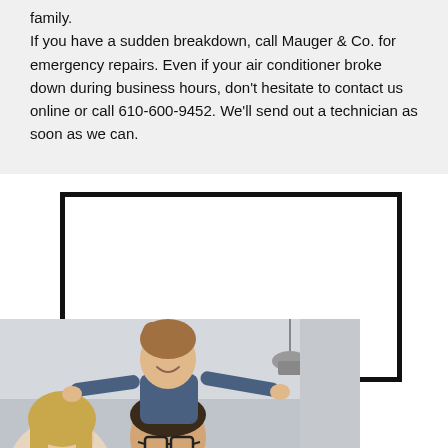family.

If you have a sudden breakdown, call Mauger & Co. for emergency repairs. Even if your air conditioner broke down during business hours, don't hesitate to contact us online or call 610-600-9452. We'll send out a technician as soon as we can.
[Figure (photo): A happy family scene showing a woman, a man wearing glasses, and a young child sitting on the man's shoulders, all smiling, in a modern indoor setting with a pendant lamp visible in the background.]